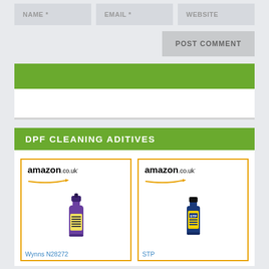NAME * | EMAIL * | WEBSITE
POST COMMENT
[Figure (other): Green banner bar (empty)]
DPF CLEANING ADITIVES
[Figure (other): Amazon.co.uk product cards showing two DPF cleaning additives: Wynns N28272 (purple bottle) and STP (blue bottle), both with Amazon.co.uk logo and orange border]
Wynns N28272
STP